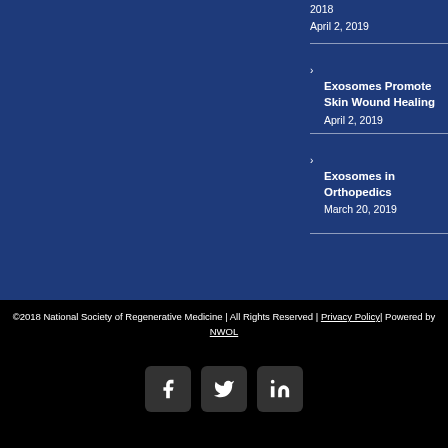2018
April 2, 2019
Exosomes Promote Skin Wound Healing
April 2, 2019
Exosomes in Orthopedics
March 20, 2019
©2018 National Society of Regenerative Medicine | All Rights Reserved | Privacy Policy| Powered by NWOL